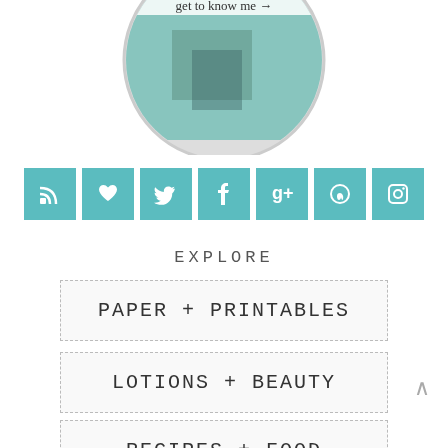[Figure (illustration): Circular profile image with 'I'M KAYLA get to know me →' text overlay, showing a person holding teal/turquoise yarn. Circle cropped at top of frame.]
[Figure (infographic): Row of 7 teal square social media icon buttons: RSS, heart/Bloglovin, Twitter, Facebook, Google+, Pinterest, Instagram]
EXPLORE
PAPER + PRINTABLES
LOTIONS + BEAUTY
RECIPES + FOOD